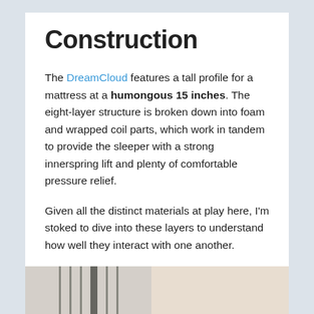Construction
The DreamCloud features a tall profile for a mattress at a humongous 15 inches. The eight-layer structure is broken down into foam and wrapped coil parts, which work in tandem to provide the sleeper with a strong innerspring lift and plenty of comfortable pressure relief.
Given all the distinct materials at play here, I'm stoked to dive into these layers to understand how well they interact with one another.
[Figure (photo): Partial view of a bedroom scene showing curtain rods or bed frame with light curtains and neutral-toned background]